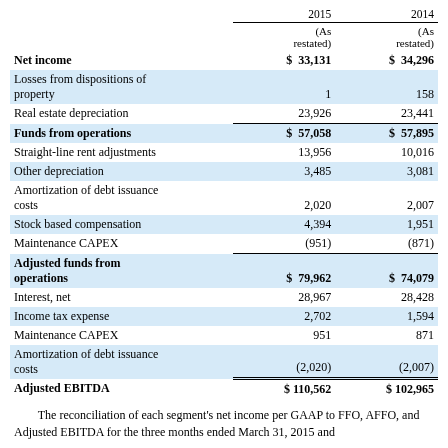|  | 2015 (As restated) | 2014 (As restated) |
| --- | --- | --- |
| Net income | $ 33,131 | $ 34,296 |
| Losses from dispositions of property | 1 | 158 |
| Real estate depreciation | 23,926 | 23,441 |
| Funds from operations | $ 57,058 | $ 57,895 |
| Straight-line rent adjustments | 13,956 | 10,016 |
| Other depreciation | 3,485 | 3,081 |
| Amortization of debt issuance costs | 2,020 | 2,007 |
| Stock based compensation | 4,394 | 1,951 |
| Maintenance CAPEX | (951) | (871) |
| Adjusted funds from operations | $ 79,962 | $ 74,079 |
| Interest, net | 28,967 | 28,428 |
| Income tax expense | 2,702 | 1,594 |
| Maintenance CAPEX | 951 | 871 |
| Amortization of debt issuance costs | (2,020) | (2,007) |
| Adjusted EBITDA | $ 110,562 | $ 102,965 |
The reconciliation of each segment's net income per GAAP to FFO, AFFO, and Adjusted EBITDA for the three months ended March 31, 2015 and